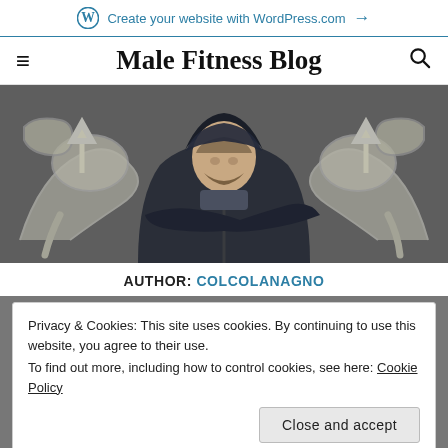Create your website with WordPress.com →
Male Fitness Blog
[Figure (photo): Man in dark hoodie standing in front of a chalkboard with chalk-drawn muscular arms flexing on either side of him.]
AUTHOR: COLCOLANAGNO
Privacy & Cookies: This site uses cookies. By continuing to use this website, you agree to their use.
To find out more, including how to control cookies, see here: Cookie Policy
Close and accept